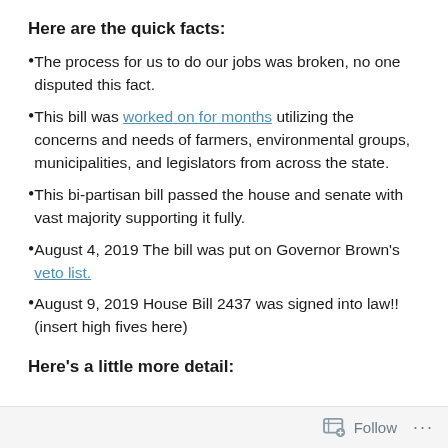Here are the quick facts:
The process for us to do our jobs was broken, no one disputed this fact.
This bill was worked on for months utilizing the concerns and needs of farmers, environmental groups, municipalities, and legislators from across the state.
This bi-partisan bill passed the house and senate with vast majority supporting it fully.
August 4, 2019 The bill was put on Governor Brown's veto list.
August 9, 2019 House Bill 2437 was signed into law!! (insert high fives here)
Here's a little more detail:
Follow